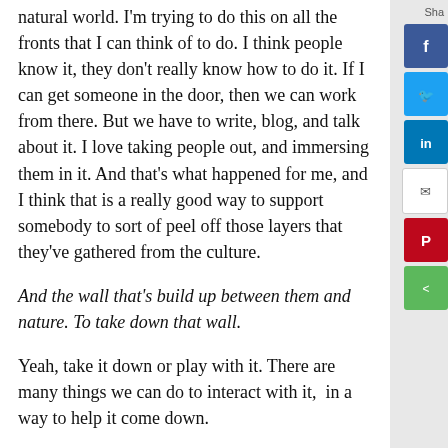natural world. I'm trying to do this on all the fronts that I can think of to do. I think people know it, they don't really know how to do it. If I can get someone in the door, then we can work from there. But we have to write, blog, and talk about it. I love taking people out, and immersing them in it. And that's what happened for me, and I think that is a really good way to support somebody to sort of peel off those layers that they've gathered from the culture.
And the wall that's build up between them and nature. To take down that wall.
Yeah, take it down or play with it. There are many things we can do to interact with it,  in a way to help it come down.
Do you have any remaining thoughts on how someone can benefit from nature. Maybe some remaining ideas they can explore to reconnect...